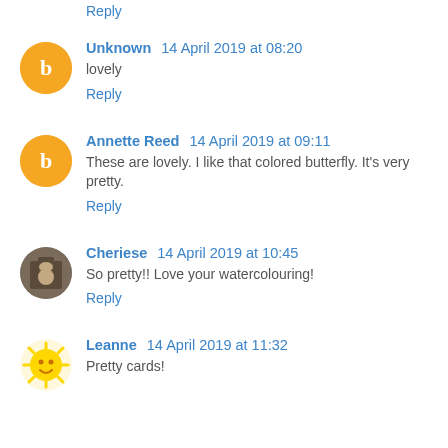Reply
Unknown  14 April 2019 at 08:20
lovely
Reply
Annette Reed  14 April 2019 at 09:11
These are lovely. I like that colored butterfly. It's very pretty.
Reply
Cheriese  14 April 2019 at 10:45
So pretty!! Love your watercolouring!
Reply
Leanne  14 April 2019 at 11:32
Pretty cards!